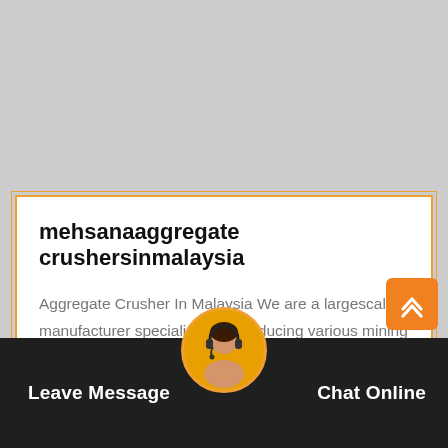[Figure (photo): Gray background image at the top of the page]
mehsanaaggregate crushersinmalaysia
Aggregate Crusher In Malaysia We are a largescale manufacturer specializing in producing various mining machines including different types of sand and gravel equipment milling equipment mineral processing equipment…
Get Price
[Figure (photo): Footer bar with dark overlay showing a customer service representative with headset, with Leave Message and Chat Online buttons]
Leave Message
Chat Online